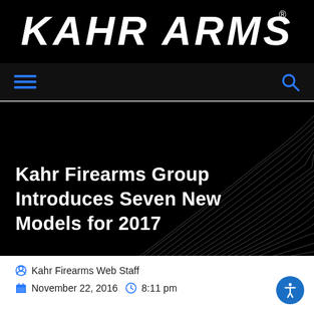[Figure (logo): Kahr Arms logo in bold italic white text on black background]
[Figure (other): Navigation bar with hamburger menu icon on left and search icon on right, on dark background]
[Figure (other): Hero banner with dark background and diagonal wave lines pattern on the right side]
Kahr Firearms Group Introduces Seven New Models for 2017
Kahr Firearms Web Staff
November 22, 2016   8:11 pm